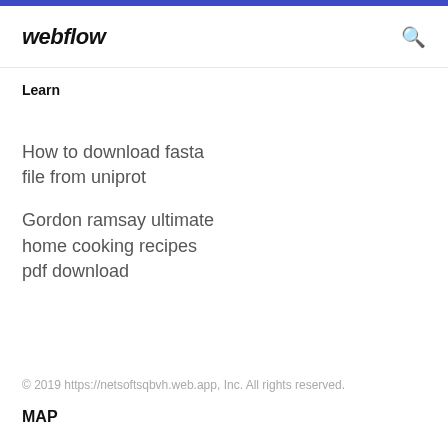webflow
Learn
How to download fasta file from uniprot
Gordon ramsay ultimate home cooking recipes pdf download
© 2019 https://netsoftsqbvh.web.app, Inc. All rights reserved.
MAP